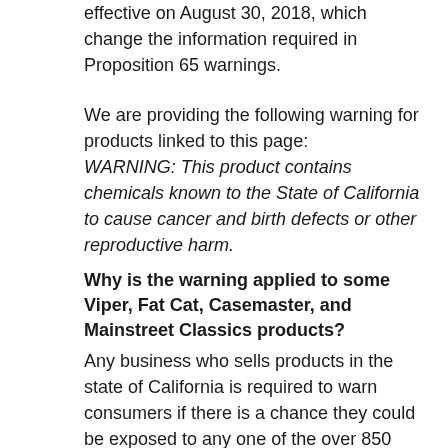effective on August 30, 2018, which change the information required in Proposition 65 warnings.
We are providing the following warning for products linked to this page:
WARNING: This product contains chemicals known to the State of California to cause cancer and birth defects or other reproductive harm.
Why is the warning applied to some Viper, Fat Cat, Casemaster, and Mainstreet Classics products?
Any business who sells products in the state of California is required to warn consumers if there is a chance they could be exposed to any one of the over 850 chemicals on their published list. This means that if one of our products contains a listed chemical, even if the level of that chemical is so low that it